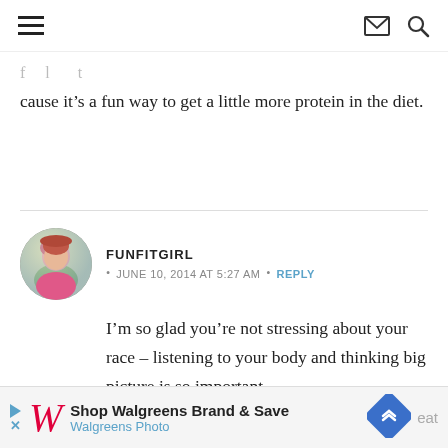Navigation bar with hamburger menu, email icon, and search icon
cause it’s a fun way to get a little more protein in the diet.
FUNFITGIRL • JUNE 10, 2014 AT 5:27 AM • REPLY
I’m so glad you’re not stressing about your race – listening to your body and thinking big picture is so important.
[Figure (other): Walgreens advertisement banner: Shop Walgreens Brand & Save, Walgreens Photo]
eat